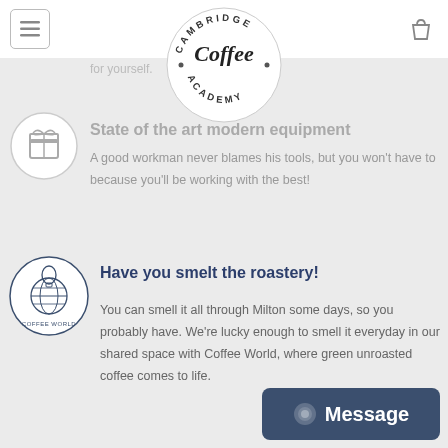Cambridge Coffee Academy
[Figure (logo): Cambridge Coffee Academy circular logo with script Coffee text in center]
for yourself.
State of the art modern equipment
[Figure (illustration): Circular icon with gift/coffee machine illustration]
A good workman never blames his tools, but you won't have to because you'll be working with the best!
[Figure (illustration): Coffee World circular logo with globe and hot air balloon]
Have you smelt the roastery!
You can smell it all through Milton some days, so you probably have. We're lucky enough to smell it everyday in our shared space with Coffee World, where green unroasted coffee comes to life.